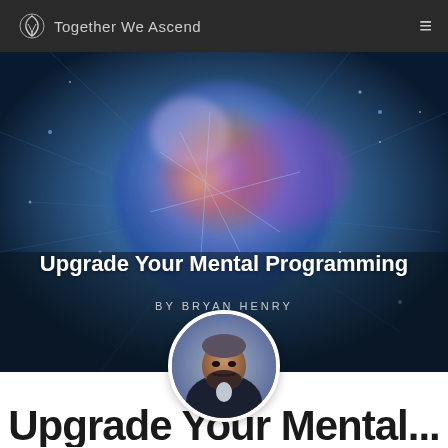Together We Ascend
[Figure (illustration): Abstract digital brain/universe image with blues and purples, glowing neural network or cosmic sphere]
Upgrade Your Mental Programming
BY BRYAN HENRY
[Figure (photo): Circular portrait photo of a bearded man wearing a dark jacket, outdoor background]
Upgrade Your Mental...